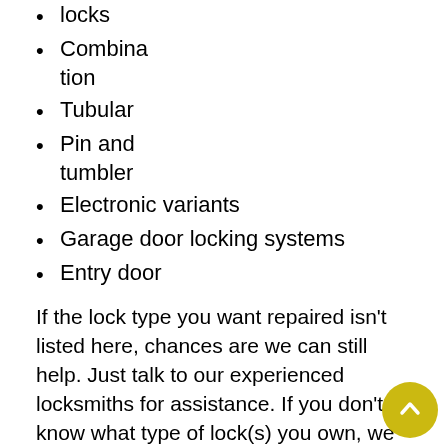locks
Combination
Tubular
Pin and tumbler
Electronic variants
Garage door locking systems
Entry door
If the lock type you want repaired isn't listed here, chances are we can still help. Just talk to our experienced locksmiths for assistance. If you don't know what type of lock(s) you own, we also offer free consultations.
Master locksmiths
Our locksmiths are a hand-picked bunch and receive an extensive amount of hands-on training. Our locksmiths not only have the skills and know-how, but also the experience to repair even the most intricate of locks. Our reputed